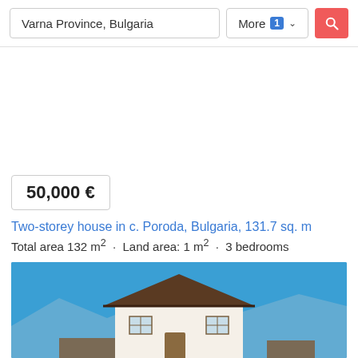[Figure (screenshot): Search bar with text input showing 'Varna Province, Bulgaria', a 'More 1' filter button with dropdown chevron, and a red search (magnifying glass) button]
50,000 €
Two-storey house in c. Poroda, Bulgaria, 131.7 sq. m
Total area 132 m² · Land area: 1 m² · 3 bedrooms
[Figure (photo): Photograph of a two-storey Bulgarian house with white walls and dark roof trim against a blue sky]